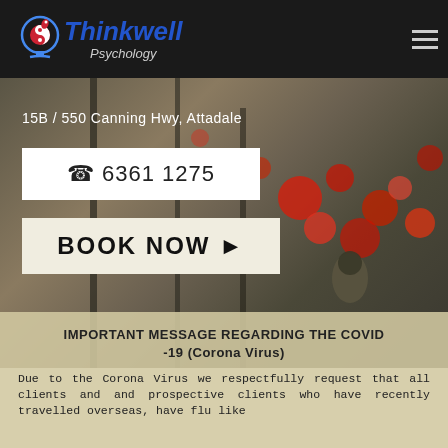Thinkwell Psychology
15B / 550 Canning Hwy, Attadale
☎ 6361 1275
BOOK NOW ▶
IMPORTANT MESSAGE REGARDING THE COVID -19 (Corona Virus)
Due to the Corona Virus we respectfully request that all clients and and prospective clients who have recently travelled overseas, have flu like